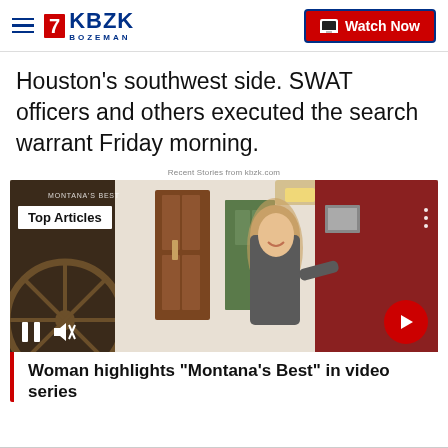KBZK BOZEMAN — Watch Now
Houston's southwest side. SWAT officers and others executed the search warrant Friday morning.
Recent Stories from kbzk.com
[Figure (screenshot): Video thumbnail showing a woman in a hallway with wooden wagon wheel, smiling at camera. Overlay shows 'Top Articles' badge, player controls (pause, mute), three-dot menu, and red arrow navigation button.]
Woman highlights "Montana's Best" in video series